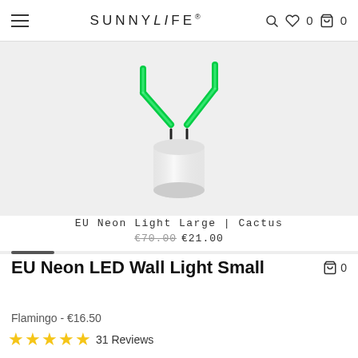SUNNYLiFE  🔍 ♡ 0  🛍 0
[Figure (photo): Product photo of EU Neon Light Large Cactus — a white cylindrical base with green neon cactus arms extending upward, on a light grey background]
EU Neon Light Large | Cactus
€70.00  €21.00
EU Neon LED Wall Light Small
Flamingo - €16.50
★★★★★  31 Reviews